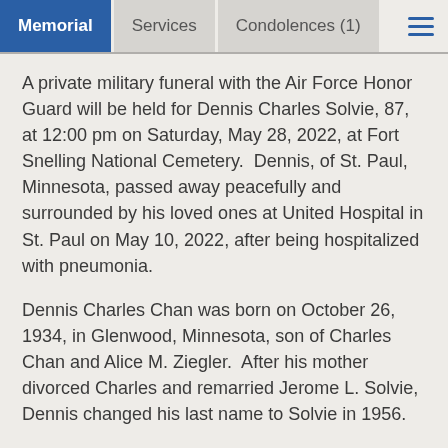Memorial | Services | Condolences (1)
A private military funeral with the Air Force Honor Guard will be held for Dennis Charles Solvie, 87, at 12:00 pm on Saturday, May 28, 2022, at Fort Snelling National Cemetery.  Dennis, of St. Paul, Minnesota, passed away peacefully and surrounded by his loved ones at United Hospital in St. Paul on May 10, 2022, after being hospitalized with pneumonia.
Dennis Charles Chan was born on October 26, 1934, in Glenwood, Minnesota, son of Charles Chan and Alice M. Ziegler.  After his mother divorced Charles and remarried Jerome L. Solvie, Dennis changed his last name to Solvie in 1956.
He graduated from Glenwood High School in 1953 and joined the Air Force in 1954, where he served for almost 9 years, until 1963.  His favorite tour of duty was his second, when he was stationed in Okinawa, Japan, for four years.